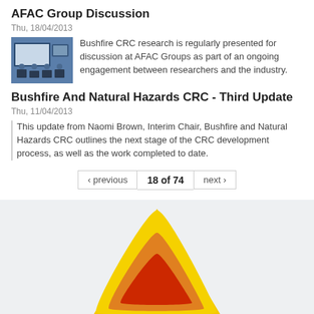AFAC Group Discussion
Thu, 18/04/2013
[Figure (photo): Photo of a meeting room with people and a presentation screen]
Bushfire CRC research is regularly presented for discussion at AFAC Groups as part of an ongoing engagement between researchers and the industry.
Bushfire And Natural Hazards CRC - Third Update
Thu, 11/04/2013
This update from Naomi Brown, Interim Chair, Bushfire and Natural Hazards CRC outlines the next stage of the CRC development process, as well as the work completed to date.
‹ previous   18 of 74   next ›
[Figure (logo): Bushfire and Natural Hazards CRC logo — layered triangles in yellow, orange, and red]